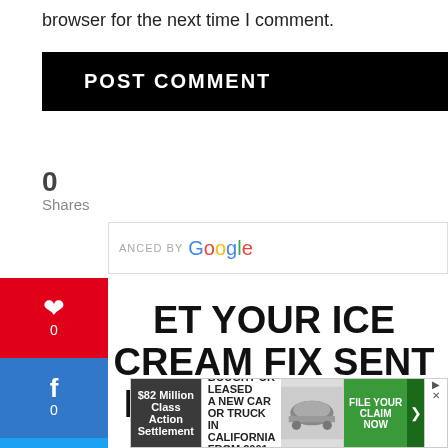browser for the next time I comment.
POST COMMENT
0
Shares
[Figure (screenshot): Social share sidebar with Pinterest (red, 0), Facebook (blue, 0), Twitter (light blue, 0), and a + more button]
ANCED BY Google
ET YOUR ICE CREAM FIX SENT RIGHT TO YOUR INBOX!
[Figure (infographic): Ad banner: $82 Million Class Action Settlement - IF YOU BOUGHT OR LEASED A NEW CAR OR TRUCK IN CALIFORNIA FROM 2001 - 2003 - FILE YOUR CLAIM NOW]